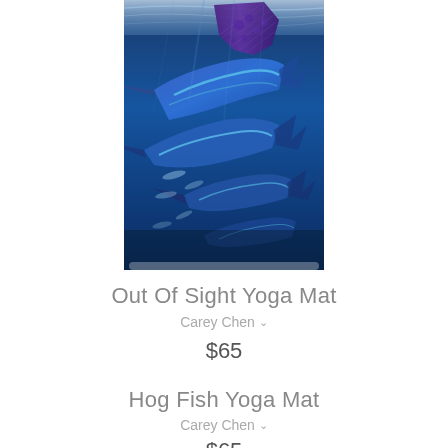[Figure (illustration): Painting of sailfish/marlin underwater in vivid blue tones, multiple fish visible swimming in deep blue water]
Out Of Sight Yoga Mat
Carey Chen ∨
$65
Hog Fish Yoga Mat
Carey Chen ∨
$65